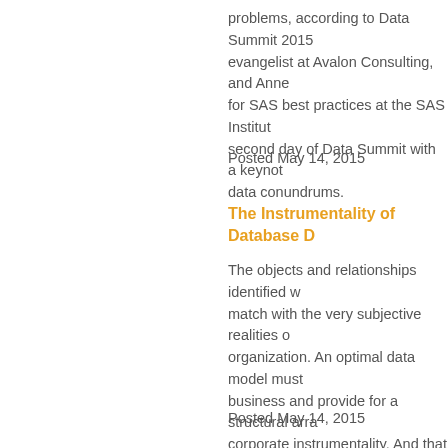problems, according to Data Summit 2015 evangelist at Avalon Consulting, and Anne for SAS best practices at the SAS Institut second day of Data Summit with a keynot data conundrums.
Posted May 14, 2015
The Instrumentality of Database D
The objects and relationships identified w match with the very subjective realities o organization. An optimal data model must business and provide for a structural arra corporate instrumentality. And that mode details things within the model are contra consider to be the nature of their reality.
Posted May 14, 2015